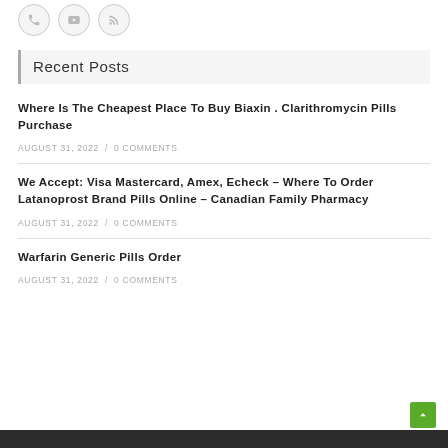[Figure (other): Three circular icon buttons with light gray borders (phone/video, YouTube, RSS feed icons)]
Recent Posts
Where Is The Cheapest Place To Buy Biaxin . Clarithromycin Pills Purchase
AUGUST 31, 2022 / 0 COMMENTS
We Accept: Visa Mastercard, Amex, Echeck – Where To Order Latanoprost Brand Pills Online – Canadian Family Pharmacy
AUGUST 31, 2022 / 0 COMMENTS
Warfarin Generic Pills Order
AUGUST 31, 2022 / 0 COMMENTS